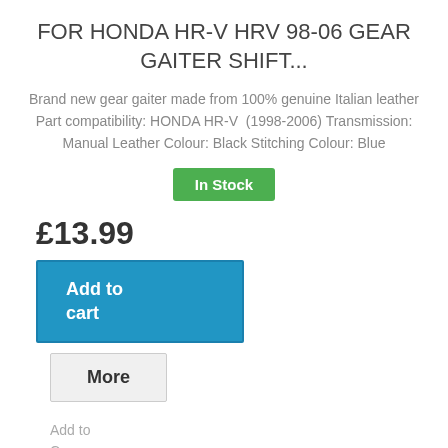FOR HONDA HR-V HRV 98-06 GEAR GAITER SHIFT...
Brand new gear gaiter made from 100% genuine Italian leather Part compatibility: HONDA HR-V  (1998-2006) Transmission: Manual Leather Colour: Black Stitching Colour: Blue
In Stock
£13.99
Add to cart
More
Add to Compare